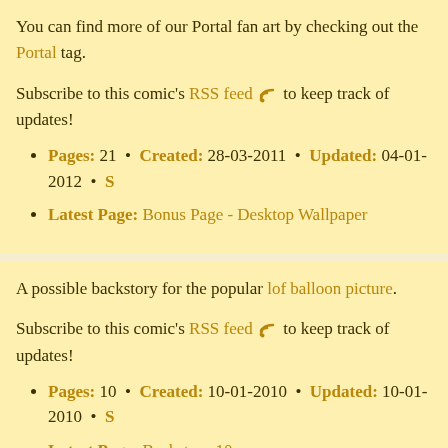You can find more of our Portal fan art by checking out the Portal tag.
Subscribe to this comic's RSS feed to keep track of updates!
Pages: 21 • Created: 28-03-2011 • Updated: 04-01-2012 • S…
Latest Page: Bonus Page - Desktop Wallpaper
A possible backstory for the popular lof balloon picture.
Subscribe to this comic's RSS feed to keep track of updates!
Pages: 10 • Created: 10-01-2010 • Updated: 10-01-2010 • S…
Latest Page: Backstory 10